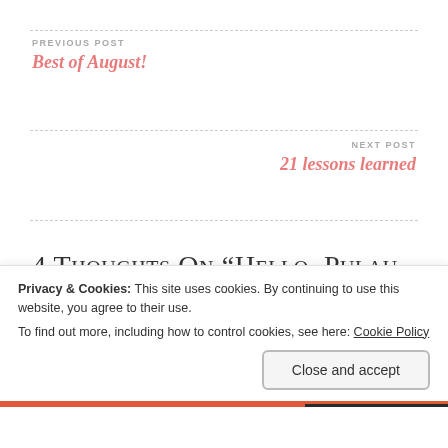PREVIOUS POST
Best of August!
NEXT POST
21 lessons learned
4 thoughts on “Hello, Pulau Selirong”
kitty On
Privacy & Cookies: This site uses cookies. By continuing to use this website, you agree to their use.
To find out more, including how to control cookies, see here: Cookie Policy
Close and accept